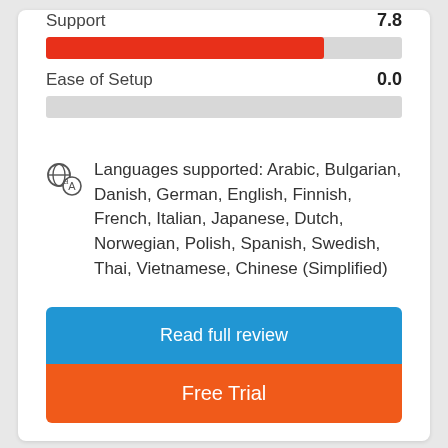Support
[Figure (infographic): Horizontal progress bar for Support score 7.8, red fill at approximately 78% of track]
Ease of Setup
[Figure (infographic): Horizontal progress bar for Ease of Setup score 0.0, empty bar (gray only)]
Languages supported: Arabic, Bulgarian, Danish, German, English, Finnish, French, Italian, Japanese, Dutch, Norwegian, Polish, Spanish, Swedish, Thai, Vietnamese, Chinese (Simplified)
Read full review
Free Trial
[Figure (logo): Bottom card showing a blue logo shape with a green badge displaying 7.8]